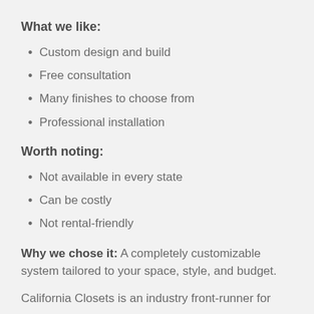What we like:
Custom design and build
Free consultation
Many finishes to choose from
Professional installation
Worth noting:
Not available in every state
Can be costly
Not rental-friendly
Why we chose it: A completely customizable system tailored to your space, style, and budget.
California Closets is an industry front-runner for